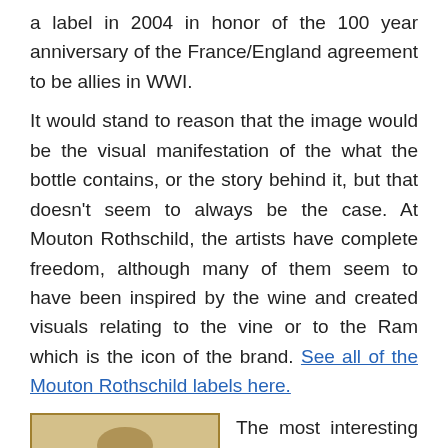a label in 2004 in honor of the 100 year anniversary of the France/England agreement to be allies in WWI.
It would stand to reason that the image would be the visual manifestation of the what the bottle contains, or the story behind it, but that doesn't seem to always be the case. At Mouton Rothschild, the artists have complete freedom, although many of them seem to have been inspired by the wine and created visuals relating to the vine or to the Ram which is the icon of the brand. See all of the Mouton Rothschild labels here.
[Figure (photo): Vintage black and white photograph showing a person's legs in fishnet stockings seated on what appears to be a chair, with a sepia/aged tone and a decorative border.]
The most interesting story I discovered while researching this article